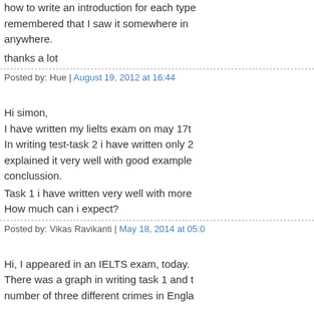how to write an introduction for each type... remembered that I saw it somewhere in ... anywhere.
thanks a lot
Posted by: Hue | August 19, 2012 at 16:44
Hi simon,
I have written my lielts exam on may 17t... In writing test-task 2 i have written only 2... explained it very well with good example... conclussion.
Task 1 i have written very well with more... How much can i expect?
Posted by: Vikas Ravikanti | May 18, 2014 at 05:0...
Hi, I appeared in an IELTS exam, today. There was a graph in writing task 1 and the number of three different crimes in Engla...
I Paraphrased, " the line graph illustrates... robbery, house burglary) in the 'UK and W...